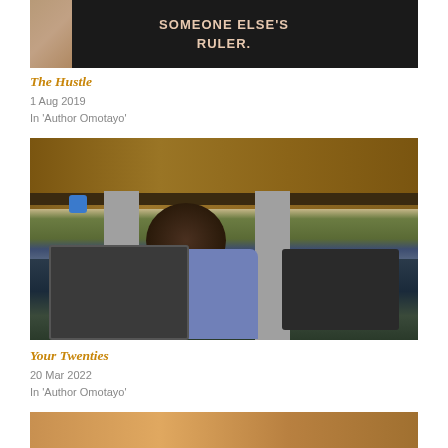[Figure (photo): A black letter board with pink/beige text reading 'SOMEONE ELSE'S RULER.' with a hand visible on the left side]
The Hustle
1 Aug 2019
In 'Author Omotayo'
[Figure (photo): A person viewed from behind, working at a wooden desk with electronics/equipment underneath, wearing a blue/purple shirt]
Your Twenties
20 Mar 2022
In 'Author Omotayo'
[Figure (photo): Partially visible image at bottom of page, appears warm/orange toned]